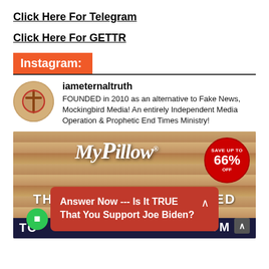Click Here For Telegram
Click Here For GETTR
Instagram:
[Figure (screenshot): Instagram profile for iameternaltruth with avatar and bio text: FOUNDED in 2010 as an alternative to Fake News, Mockingbird Media! An entirely Independent Media Operation & Prophetic End Times Ministry!]
[Figure (screenshot): MyPillow advertisement banner showing wooden background, MyPillow logo, Save Up To 66% Off badge in red circle, text THANKS ALL WHO SERVED, dark blue bottom bar, and a red popup overlay reading Answer Now --- Is It TRUE That You Support Joe Biden?]